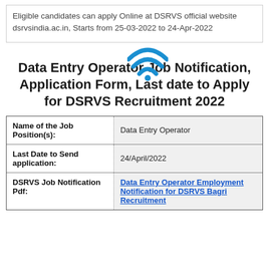Eligible candidates can apply Online at DSRVS official website dsrvsindia.ac.in, Starts from 25-03-2022 to 24-Apr-2022
Data Entry Operator Job Notification, Application Form, Last date to Apply for DSRVS Recruitment 2022
| Name of the Job Position(s): | Data Entry Operator |
| --- | --- |
| Last Date to Send application: | 24/April/2022 |
| DSRVS Job Notification Pdf: | Data Entry Operator Employment Notification for DSRVS Bagri Recruitment |